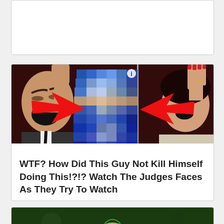[Figure (screenshot): Partial white card at top of page, cut off]
[Figure (photo): TV talent show judges reacting with shock. Two red arrows pointing to a pixelated/blurred center region of the image. Left side shows a man with mouth wide open in shock, right side shows a woman with hands raised. The center is heavily pixelated in blue tones.]
WTF? How Did This Guy Not Kill Himself Doing This!?!? Watch The Judges Faces As They Try To Watch
[Figure (photo): Bottom partial card showing a dark green background with what appears to be a finger or object partially visible]